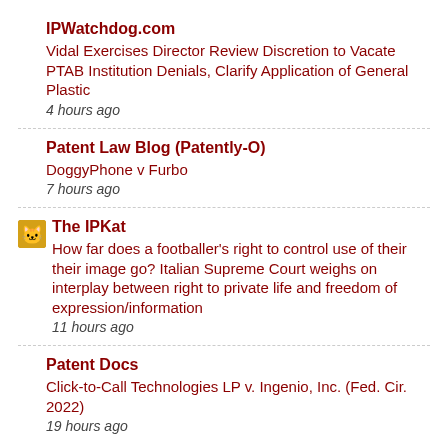IPWatchdog.com
Vidal Exercises Director Review Discretion to Vacate PTAB Institution Denials, Clarify Application of General Plastic
4 hours ago
Patent Law Blog (Patently-O)
DoggyPhone v Furbo
7 hours ago
The IPKat
How far does a footballer's right to control use of their their image go? Italian Supreme Court weighs on interplay between right to private life and freedom of expression/information
11 hours ago
Patent Docs
Click-to-Call Technologies LP v. Ingenio, Inc. (Fed. Cir. 2022)
19 hours ago